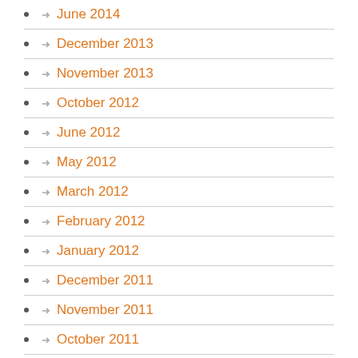June 2014
December 2013
November 2013
October 2012
June 2012
May 2012
March 2012
February 2012
January 2012
December 2011
November 2011
October 2011
September 2011
August 2011
July 2011